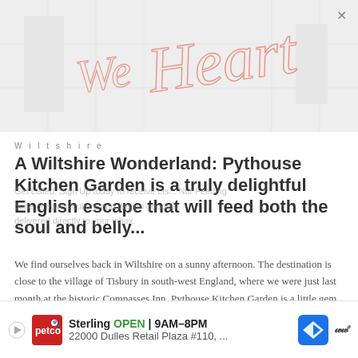[Figure (logo): We Heart logo in salmon/pink handwritten script overlaid on a faint grey background photo of an interior scene. An X close button is visible in the top right corner.]
Wiltshire
A Wiltshire Wonderland: Pythouse Kitchen Garden is a truly delightful English escape that will feed both the soul and belly...
We find ourselves back in Wiltshire on a sunny afternoon. The destination is close to the village of Tisbury in south-west England, where we were just last month at the historic Compasses Inn. Pythouse Kitchen Garden is a little gem of a find.
[Figure (screenshot): Advertisement banner at the bottom: Petco store ad. Sterling OPEN | 9AM-8PM, 22000 Dulles Retail Plaza #110, ... with navigation icon and Waze logo.]